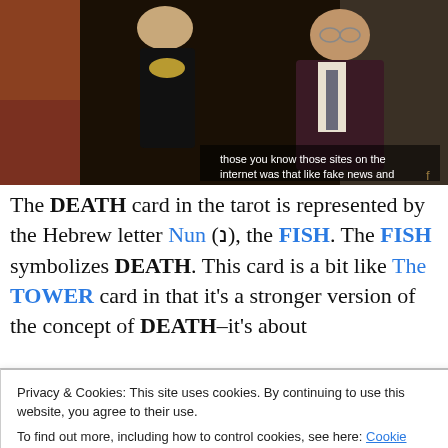[Figure (photo): A woman in a black strapless dress with a gold necklace and a man in a dark suit with glasses, talking. Subtitle reads: 'those you know those sites on the internet was that like fake news and']
The DEATH card in the tarot is represented by the Hebrew letter Nun (נ), the FISH. The FISH symbolizes DEATH. This card is a bit like The TOWER card in that it's a stronger version of the concept of DEATH–it's about transformation. TZADDI, the FISHHOOK, draws the FISH
Privacy & Cookies: This site uses cookies. By continuing to use this website, you agree to their use.
To find out more, including how to control cookies, see here: Cookie Policy
Close and accept